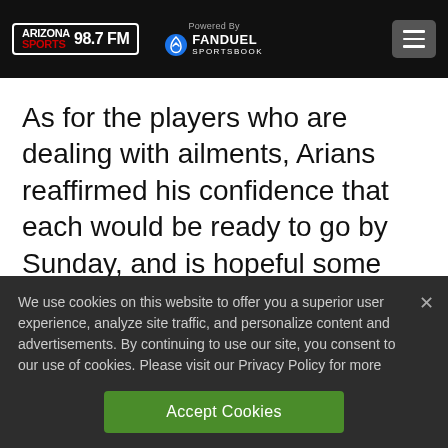ARIZONA SPORTS 98.7 FM — Powered By FANDUEL SPORTSBOOK
As for the players who are dealing with ailments, Arians reaffirmed his confidence that each would be ready to go by Sunday, and is hopeful some will get back on the practice field Thursday.
We use cookies on this website to offer you a superior user experience, analyze site traffic, and personalize content and advertisements. By continuing to use our site, you consent to our use of cookies. Please visit our Privacy Policy for more information.
Accept Cookies